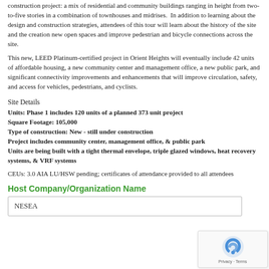construction project: a mix of residential and community buildings ranging in height from two-to-five stories in a combination of townhouses and midrises. In addition to learning about the design and construction strategies, attendees of this tour will learn about the history of the site and the creation new open spaces and improve pedestrian and bicycle connections across the site.
This new, LEED Platinum-certified project in Orient Heights will eventually include 42 units of affordable housing, a new community center and management office, a new public park, and significant connectivity improvements and enhancements that will improve circulation, safety, and access for vehicles, pedestrians, and cyclists.
Site Details
Units: Phase 1 includes 120 units of a planned 373 unit project
Square Footage: 105,000
Type of construction: New - still under construction
Project includes community center, management office, & public park
Units are being built with a tight thermal envelope, triple glazed windows, heat recovery systems, & VRF systems
CEUs: 3.0 AIA LU/HSW pending; certificates of attendance provided to all attendees
Host Company/Organization Name
NESEA